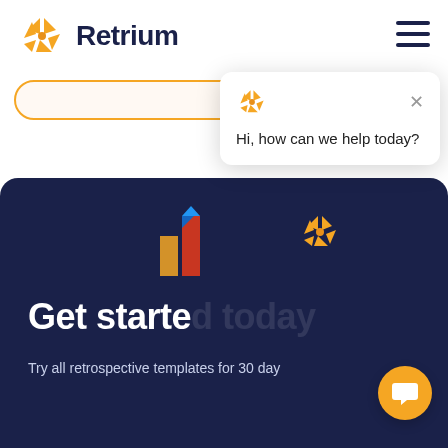Retrium
[Figure (screenshot): Orange pill-shaped search or input bar with orange border on light background]
[Figure (screenshot): Dark navy section with decorative bar chart illustration and Retrium logo icon, heading 'Get started' and subtext 'Try all retrospective templates for 30 day']
[Figure (infographic): Chat popup overlay with Retrium logo, X close button, and text 'Hi, how can we help today?'. Orange chat bubble button in lower right.]